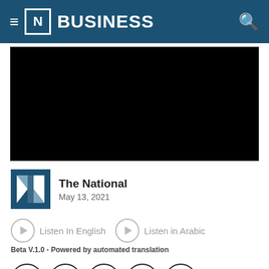[N] BUSINESS
[Figure (photo): Black video/image placeholder area]
The National
May 13, 2021
Listen In English   Listen in Arabic
Beta V.1.0 - Powered by automated translation
[Figure (infographic): Social sharing icons: Twitter, Facebook, LinkedIn, WhatsApp, Email]
Colonial Pipeline announced late on